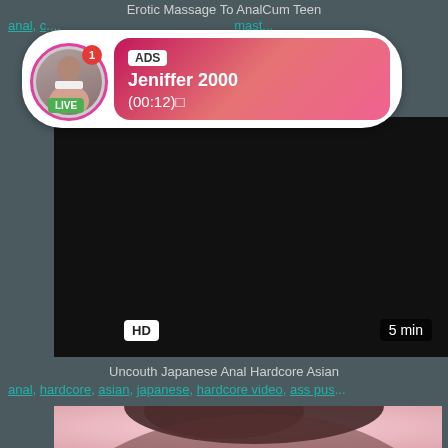Erotic Massage To AnalCum Teen
anal, c..., mast...
[Figure (screenshot): Advertisement overlay bubble with avatar photo, LIVE badge, notification dot, ADS label, name Jeniffer 2000, timestamp (00:12)]
[Figure (screenshot): Black video player area with HD badge and 5 min duration label]
Uncouth Japanese Anal Hardcore Asian
anal, hardcore, asian, japanese, hardcore video, ass pus...
[Figure (photo): Partial photo of a person with dark hair, pink background visible at bottom of page]